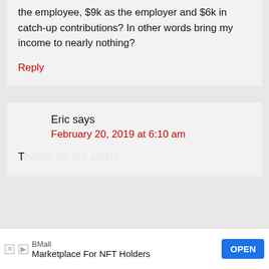the employee, $9k as the employer and $6k in catch-up contributions? In other words bring my income to nearly nothing?
Reply
Eric says
February 20, 2019 at 6:10 am
Thanks for the article...